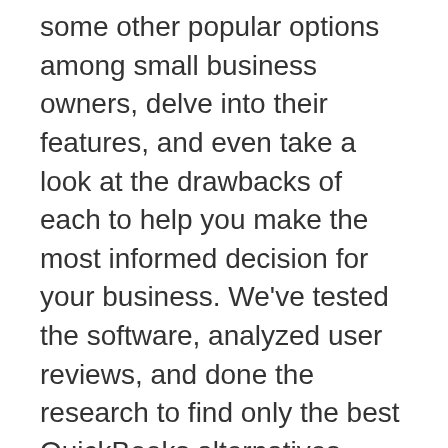some other popular options among small business owners, delve into their features, and even take a look at the drawbacks of each to help you make the most informed decision for your business. We've tested the software, analyzed user reviews, and done the research to find only the best QuickBooks alternatives.
Before wasting time and money weeding through various software, keep reading to learn about some great QuickBooks Online alternatives that may be an ideal fit for your business' unique accounting